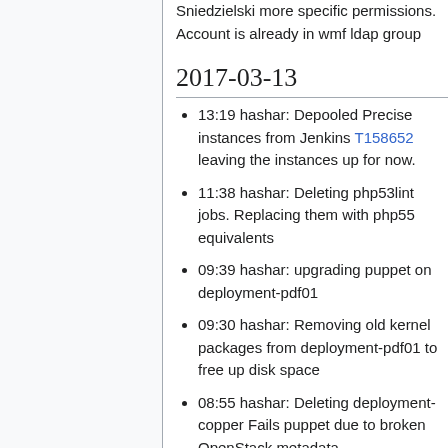Sniedzielski more specific permissions. Account is already in wmf ldap group
2017-03-13
13:19 hashar: Depooled Precise instances from Jenkins T158652 leaving the instances up for now.
11:38 hashar: Deleting php53lint jobs. Replacing them with php55 equivalents
09:39 hashar: upgrading puppet on deployment-pdf01
09:30 hashar: Removing old kernel packages from deployment-pdf01 to free up disk space
08:55 hashar: Deleting deployment-copper Fails puppet due to broken OpenStack metadata